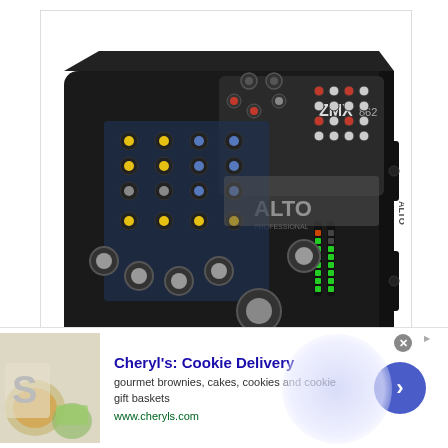[Figure (photo): Photo of an Alto ZMX862 audio mixer. Black hardware with multiple knobs (yellow, blue, silver/grey), XLR and RCA input jacks, LED level meters, and the ALTO brand logo visible on the surface.]
Cheryl's: Cookie Delivery
gourmet brownies, cakes, cookies and cookie gift baskets
www.cheryls.com